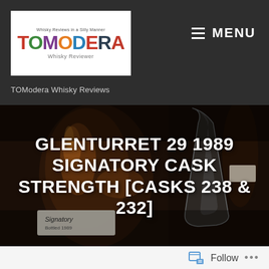TOModera Whisky Reviews — MENU
[Figure (photo): Dark photo of whisky bottles and a glass, with a label reading 'Signatory' visible on one bottle]
GLENTURRET 29 1989 SIGNATORY CASK STRENGTH [CASKS 238 & 232]
Follow ...